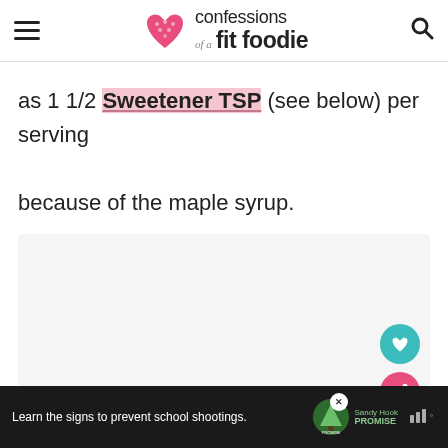confessions of a fit foodie
as 1 1/2 Sweetener TSP (see below) per serving because of the maple syrup.
[Figure (other): Placeholder content area with loading dots]
Learn the signs to prevent school shootings. Sandy Hook Promise